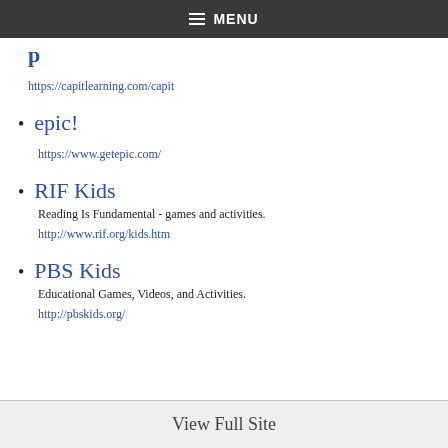≡ MENU
https://capitlearning.com/capit
epic!
https://www.getepic.com/
RIF Kids
Reading Is Fundamental - games and activities.
http://www.rif.org/kids.htm
PBS Kids
Educational Games, Videos, and Activities.
http://pbskids.org/
View Full Site